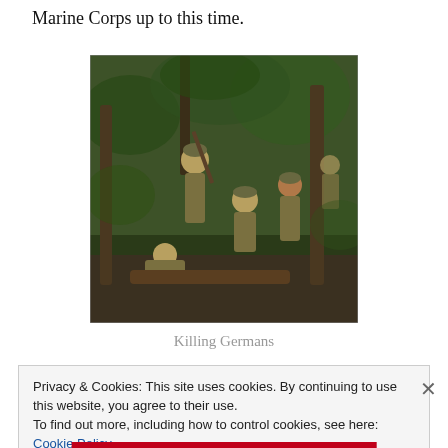Marine Corps up to this time.
[Figure (photo): Painting or photograph depicting World War I Marines in combat in a forested area, soldiers with rifles and helmets fighting]
Killing Germans
Privacy & Cookies: This site uses cookies. By continuing to use this website, you agree to their use.
To find out more, including how to control cookies, see here: Cookie Policy
Close and accept